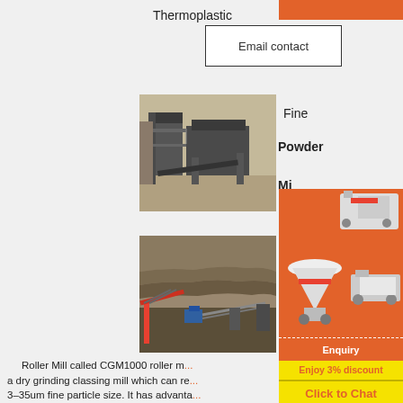Thermoplastic
Email contact
Fine
Powder
Mi
[Figure (photo): Aerial/overhead view of large industrial crushing or screening plant with metal tower structure and conveyor systems]
[Figure (photo): Mining quarry site with large stone crushing and conveyor equipment in rocky terrain]
[Figure (photo): Orange advertisement panel showing mining/crushing machinery illustrations with 'Enjoy 3% discount' and 'Click to Chat' banners]
Enquiry
limingjlmofen@sina.com
Roller Mill called CGM1000 roller m... a dry grinding classing mill which can re... 3–35um fine particle size. It has advanta... of excellent performance, high efficiency , small outline, easy